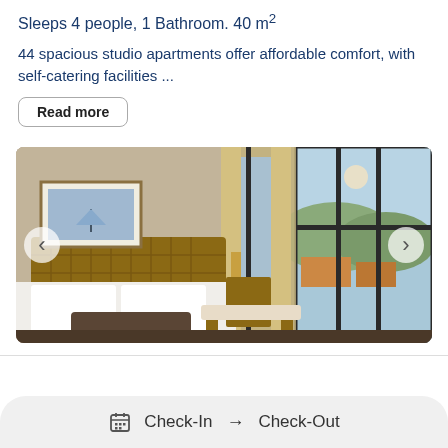Sleeps 4 people, 1 Bathroom. 40 m²
44 spacious studio apartments offer affordable comfort, with self-catering facilities ...
Read more
[Figure (photo): Hotel room interior showing a double bed with white linens, wicker headboard, framed artwork on the wall, beige curtains, large windows with a view of a city and mountains, and a bench/table set in the foreground. Navigation arrows (left/right) for an image carousel are visible.]
Check-In → Check-Out